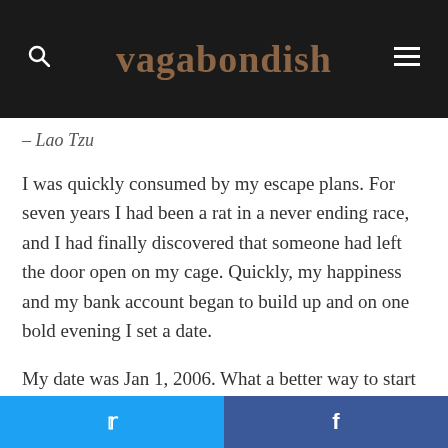vagabondish
– Lao Tzu
I was quickly consumed by my escape plans. For seven years I had been a rat in a never ending race, and I had finally discovered that someone had left the door open on my cage. Quickly, my happiness and my bank account began to build up and on one bold evening I set a date.
My date was Jan 1, 2006. What a better way to start a new year than to start a new life